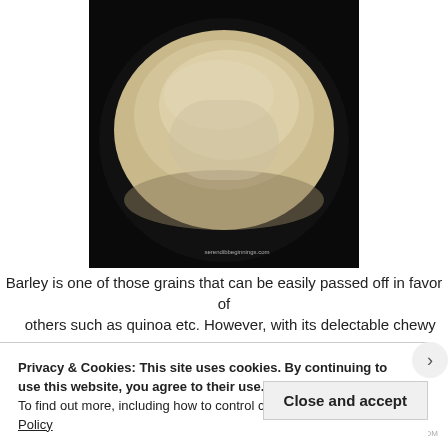[Figure (photo): A dark pan/wok filled with pale, small barley grains piled in the center, with a watermark reading 'serendibbeginnings.com' at the bottom right of the image.]
Barley is one of those grains that can be easily passed off in favor of others such as quinoa etc. However, with its delectable chewy
Privacy & Cookies: This site uses cookies. By continuing to use this website, you agree to their use.
To find out more, including how to control cookies, see here: Cookie Policy
Close and accept